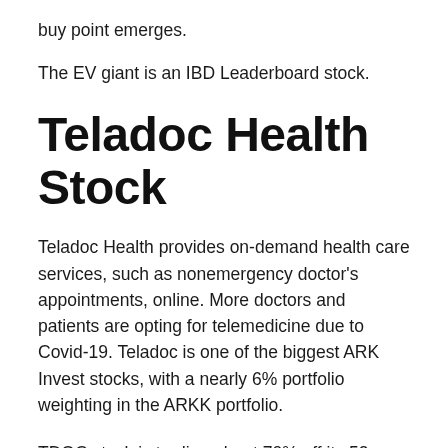buy point emerges.
The EV giant is an IBD Leaderboard stock.
Teladoc Health Stock
Teladoc Health provides on-demand health care services, such as nonemergency doctor's appointments, online. More doctors and patients are opting for telemedicine due to Covid-19. Teladoc is one of the biggest ARK Invest stocks, with a nearly 6% portfolio weighting in the ARKK portfolio.
TDOC stock is trading about 70% off its 52-week high. Shares dropped about 1% Thursday.